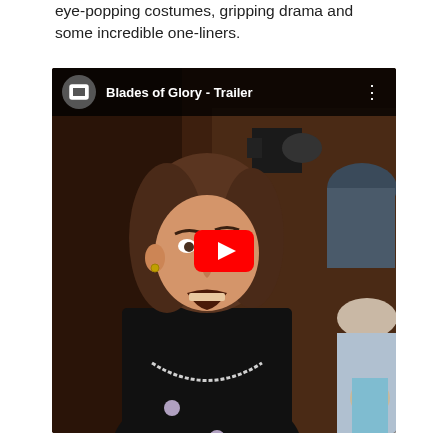eye-popping costumes, gripping drama and some incredible one-liners.
[Figure (screenshot): YouTube video embed showing 'Blades of Glory - Trailer' with a YouTube play button overlay on a movie still featuring a man with long hair in a black jacket surrounded by photographers and crowd members.]